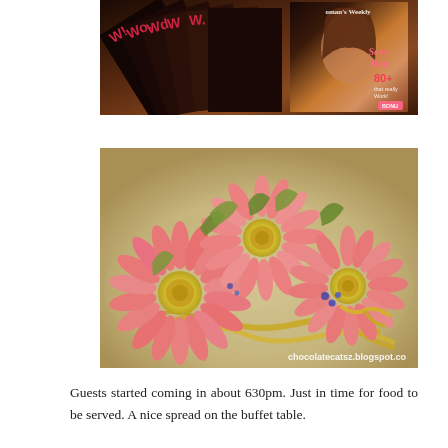[Figure (photo): Fanned-out stack of Woman's Weekly magazines showing cover with 'Sexy Hair' headline and woman's face]
[Figure (photo): Three pink gerbera daisy corsages with green foliage and gold ribbon on a table; watermark reads 'chocolatecatsz.blogspot.co']
Guests started coming in about 630pm. Just in time for food to be served. A nice spread on the buffet table.